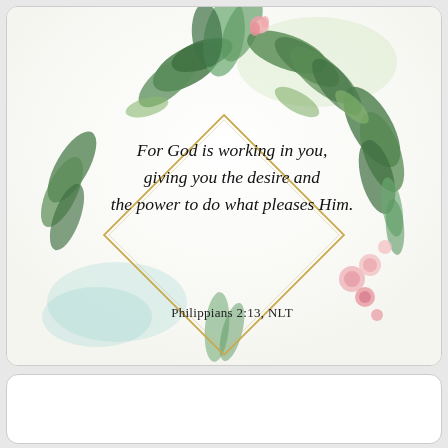[Figure (illustration): Decorative botanical card with watercolor green leaves and pink flowers surrounding a gold diamond/rhombus frame. Inside the frame is a Bible verse in cursive script: 'For God is working in you, giving you the desire and the power to do what pleases Him.' with the reference 'Philippians 2:13, NLT' below in serif font.]
For God is working in you, giving you the desire and the power to do what pleases Him.
Philippians 2:13, NLT